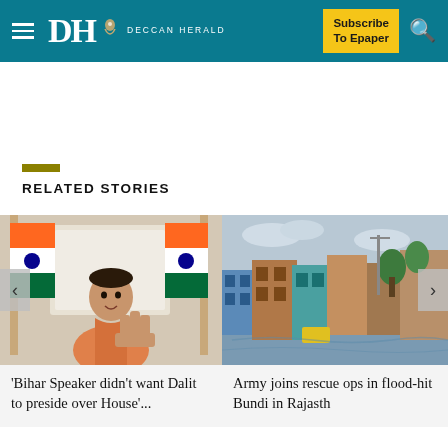DH DECCAN HERALD | Subscribe To Epaper
RELATED STORIES
[Figure (photo): Indian politician in orange kurta making a gesture with hand, sitting in front of Indian flags]
'Bihar Speaker didn't want Dalit to preside over House'...
[Figure (photo): Aerial view of flood-hit town of Bundi in Rajasthan, India, with buildings partially submerged in water]
Army joins rescue ops in flood-hit Bundi in Rajasth